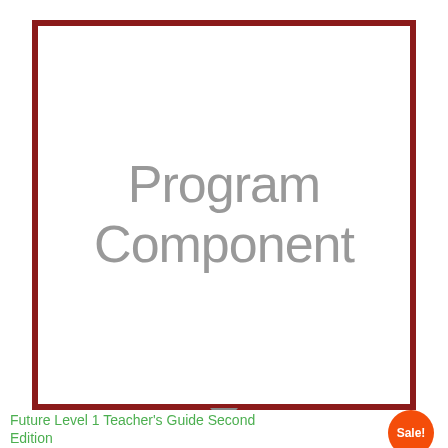[Figure (illustration): A white rectangle with a dark red border containing the gray text 'Program Component' in large light-weight font. A small upward-pointing triangle appears at the bottom center of the border.]
Future Level 1 Teacher's Guide Second Edition